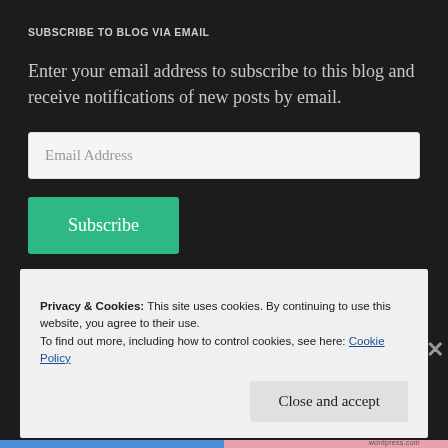SUBSCRIBE TO BLOG VIA EMAIL
Enter your email address to subscribe to this blog and receive notifications of new posts by email.
Email Address
Subscribe
Join 10,852 other followers
Privacy & Cookies: This site uses cookies. By continuing to use this website, you agree to their use.
To find out more, including how to control cookies, see here: Cookie Policy
Close and accept